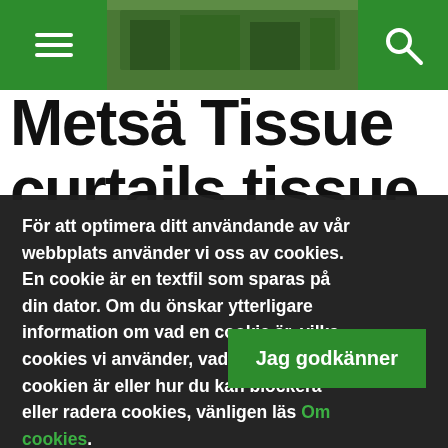[Figure (screenshot): Top navigation bar with green hamburger menu on left, photo of building/factory in center, green search icon on right]
Metsä Tissue curtails tissue production at
För att optimera ditt användande av vår webbplats använder vi oss av cookies. En cookie är en textfil som sparas på din dator. Om du önskar ytterligare information om vad en cookie är, vilka cookies vi använder, vad syftet med cookien är eller hur du kan blockera eller radera cookies, vänligen läs Om cookies.